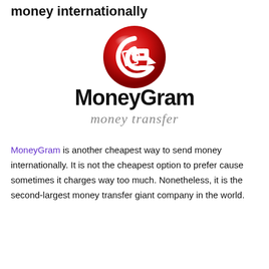money internationally
[Figure (logo): MoneyGram logo: red sphere with white arrow-G symbol above black 'MoneyGram.' wordmark and gray italic 'money transfer' text below]
MoneyGram is another cheapest way to send money internationally. It is not the cheapest option to prefer cause sometimes it charges way too much. Nonetheless, it is the second-largest money transfer giant company in the world.